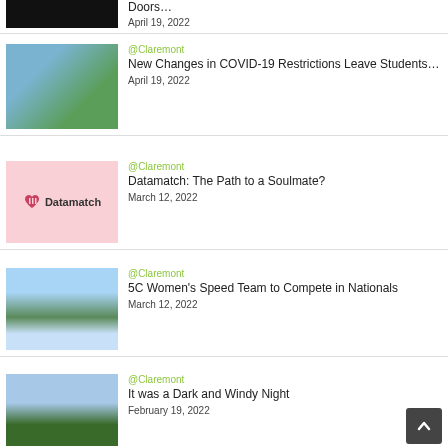Doors...
April 19, 2022
@Claremont
New Changes in COVID-19 Restrictions Leave Students...
April 19, 2022
@Claremont
Datamatch: The Path to a Soulmate?
March 12, 2022
@Claremont
5C Women's Speed Team to Compete in Nationals
March 12, 2022
@Claremont
It was a Dark and Windy Night
February 19, 2022